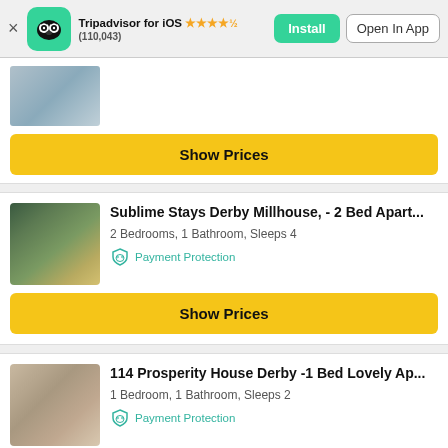Tripadvisor for iOS ★★★★½ (110,043) Install  Open In App
[Figure (photo): Partial photo of a property exterior with brick wall and window]
Show Prices
Sublime Stays Derby Millhouse, - 2 Bed Apart...
2 Bedrooms, 1 Bathroom, Sleeps 4
Payment Protection
Show Prices
114 Prosperity House Derby -1 Bed Lovely Ap...
1 Bedroom, 1 Bathroom, Sleeps 2
Payment Protection